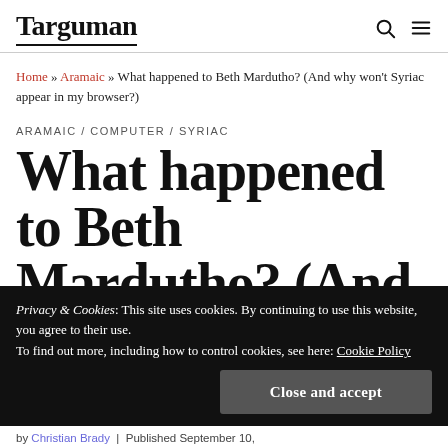Targuman
Home » Aramaic » What happened to Beth Mardutho? (And why won't Syriac appear in my browser?)
ARAMAIC / COMPUTER / SYRIAC
What happened to Beth Mardutho? (And why
Privacy & Cookies: This site uses cookies. By continuing to use this website, you agree to their use.
To find out more, including how to control cookies, see here: Cookie Policy
Close and accept
by Christian Brady | Published September 10,